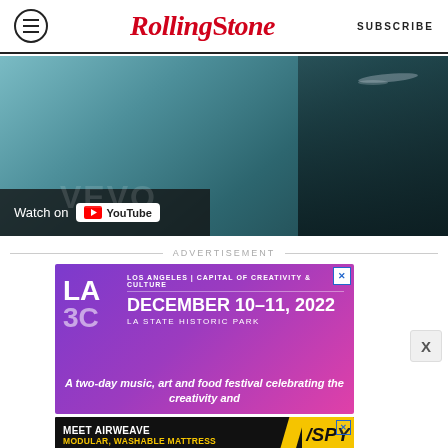Rolling Stone | SUBSCRIBE
[Figure (screenshot): YouTube video thumbnail showing a dark figure with teal/blue background with 'Watch on YouTube' overlay button at bottom left]
ADVERTISEMENT
[Figure (infographic): LA3C advertisement: LOS ANGELES | CAPITAL OF CREATIVITY & CULTURE | DECEMBER 10-11, 2022 | LA STATE HISTORIC PARK | A two-day music, art and food festival celebrating the creativity and]
[Figure (infographic): Airweave advertisement: MEET AIRWEAVE | MODULAR, WASHABLE MATTRESS | SPY logo]